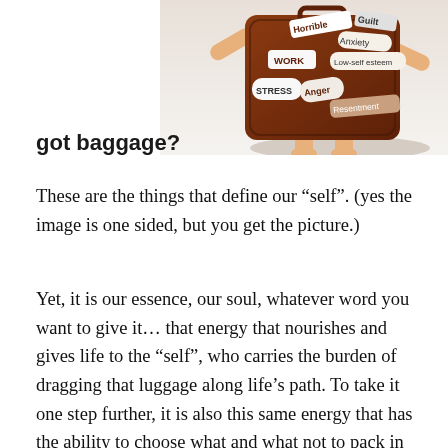[Figure (illustration): 3D illustration of an anthropomorphic brown suitcase with human-like arms and legs, covered with labels reading: Horrible, Guilt, Anxiety, Work, Low-self esteem, Stress, Anger, Resentment. Text below reads 'got baggage?']
These are the things that define our “self”. (yes the image is one sided, but you get the picture.)
Yet, it is our essence, our soul, whatever word you want to give it… that energy that nourishes and gives life to the “self”, who carries the burden of dragging that luggage along life’s path. To take it one step further, it is also this same energy that has the ability to choose what and what not to pack in this piece of luggage. To choose just how heavy to travel.